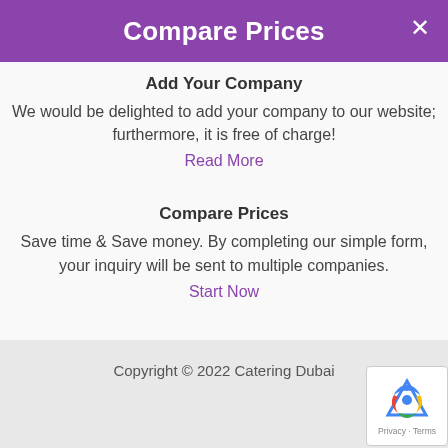Compare Prices
Add Your Company
We would be delighted to add your company to our website; furthermore, it is free of charge!
Read More
Compare Prices
Save time & Save money. By completing our simple form, your inquiry will be sent to multiple companies.
Start Now
Copyright © 2022 Catering Dubai